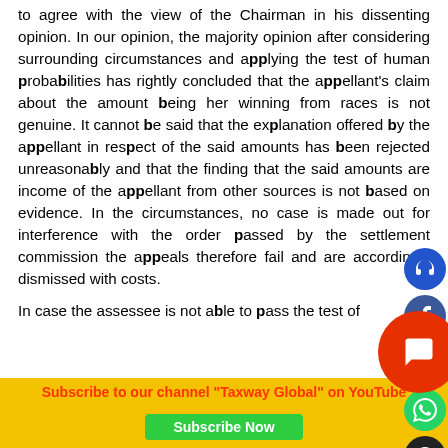to agree with the view of the Chairman in his dissenting opinion. In our opinion, the majority opinion after considering surrounding circumstances and applying the test of human probabilities has rightly concluded that the appellant's claim about the amount being her winning from races is not genuine. It cannot be said that the explanation offered by the appellant in respect of the said amounts has been rejected unreasonably and that the finding that the said amounts are income of the appellant from other sources is not based on evidence. In the circumstances, no case is made out for interference with the order passed by the settlement commission the appeals therefore fail and are accordingly dismissed with costs.
In case the assessee is not able to pass the test of human probabilities then the said gifts...
Subscribe to our channel "Taxway Global" on YouTube